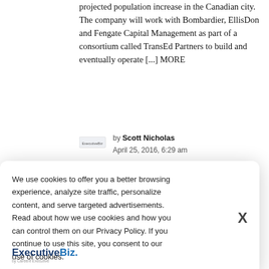projected population increase in the Canadian city. The company will work with Bombardier, EllisDon and Fengate Capital Management as part of a consortium called TransEd Partners to build and eventually operate [...] MORE
by Scott Nicholas
April 25, 2016, 6:29 am
[Figure (screenshot): Thumbnail image showing a sky and what appears to be an antenna or tower structure]
INDUSTRY NEWS   NEWS
[Figure (screenshot): Cookie consent modal overlay with ExecutiveBiz logo, cookie policy text, and X close button]
We use cookies to offer you a better browsing experience, analyze site traffic, personalize content, and serve targeted advertisements. Read about how we use cookies and how you can control them on our Privacy Policy. If you continue to use this site, you consent to our use of cookies.
systems. The 36,000-square-foot building